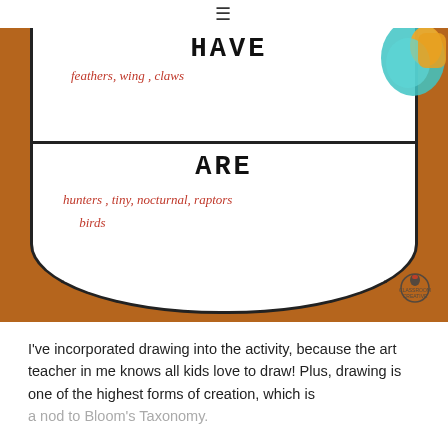≡
[Figure (photo): Photo of a student activity worksheet shaped like a rounded card on a brown background. The card has two sections: top section labeled HAVE with handwritten text 'feathers, wing, claws' in red/pink, and bottom section labeled ARE with handwritten text 'hunters, tiny, nocturnal, raptors birds' in red/pink. A colorful owl illustration appears in the top right corner. A classroom creative logo stamp is in the bottom right.]
I've incorporated drawing into the activity, because the art teacher in me knows all kids love to draw!  Plus, drawing is one of the highest forms of creation, which is a nod to  Bloom's Taxonomy.